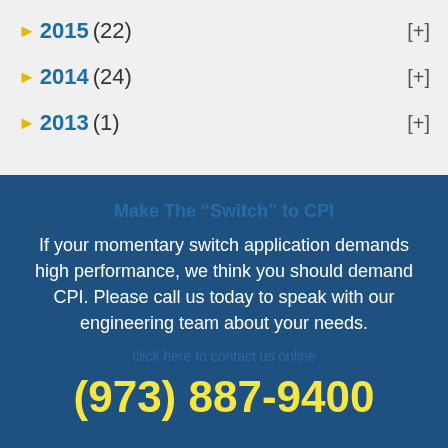2015 (22) [+]
2014 (24) [+]
2013 (1) [+]
Make The 'Switch' to CPI
If your momentary switch application demands high performance, we think you should demand CPI. Please call us today to speak with our engineering team about your needs.
(973) 887-9400